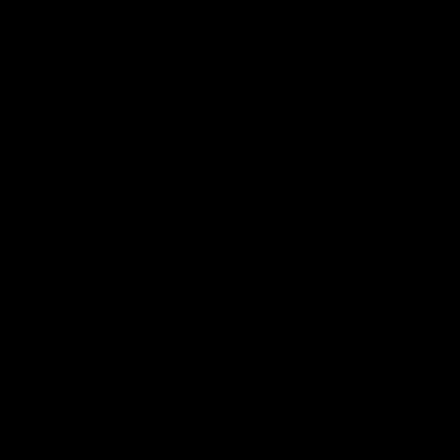[Figure (photo): Outdoor ceremony with people standing near a table with red tablecloth, band members visible in background, white chairs in foreground]
9:15am - 9:17am Introduction by Executive Director Art Brown
9:17am - 9:19am Presentation by Orange County Sheriff's D
9:19am - 9:23am National Anthem Troy High School (Fuller
[Figure (photo): Outdoor scene with palm trees and people, appears to be a public event or ceremony]